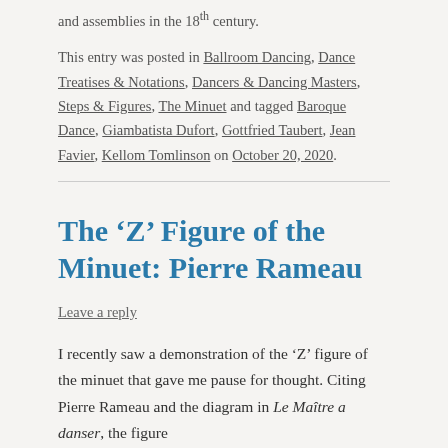and assemblies in the 18th century.
This entry was posted in Ballroom Dancing, Dance Treatises & Notations, Dancers & Dancing Masters, Steps & Figures, The Minuet and tagged Baroque Dance, Giambatista Dufort, Gottfried Taubert, Jean Favier, Kellom Tomlinson on October 20, 2020.
The ‘Z’ Figure of the Minuet: Pierre Rameau
Leave a reply
I recently saw a demonstration of the ‘Z’ figure of the minuet that gave me pause for thought. Citing Pierre Rameau and the diagram in Le Maître a danser, the figure